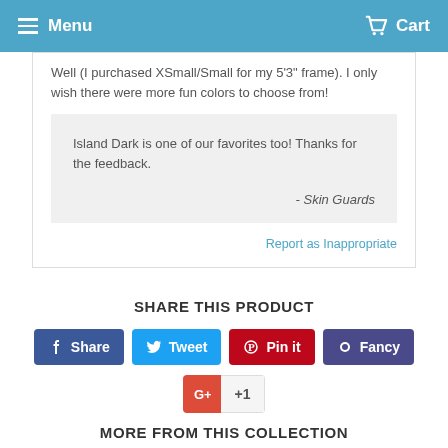Menu   Cart
Well (I purchased XSmall/Small for my 5'3" frame). I only wish there were more fun colors to choose from!
Island Dark is one of our favorites too! Thanks for the feedback.

- Skin Guards
Report as Inappropriate
SHARE THIS PRODUCT
Share   Tweet   Pin it   Fancy   G+ +1
MORE FROM THIS COLLECTION